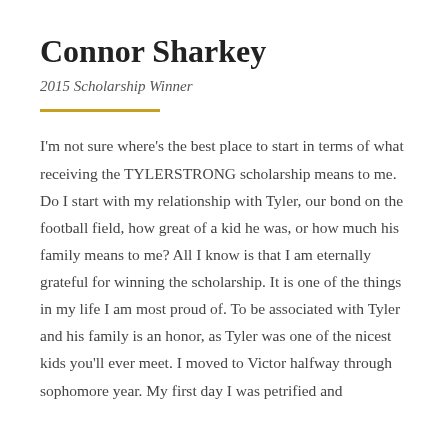Connor Sharkey
2015 Scholarship Winner
I'm not sure where's the best place to start in terms of what receiving the TYLERSTRONG scholarship means to me. Do I start with my relationship with Tyler, our bond on the football field, how great of a kid he was, or how much his family means to me? All I know is that I am eternally grateful for winning the scholarship. It is one of the things in my life I am most proud of. To be associated with Tyler and his family is an honor, as Tyler was one of the nicest kids you'll ever meet. I moved to Victor halfway through sophomore year. My first day I was petrified and